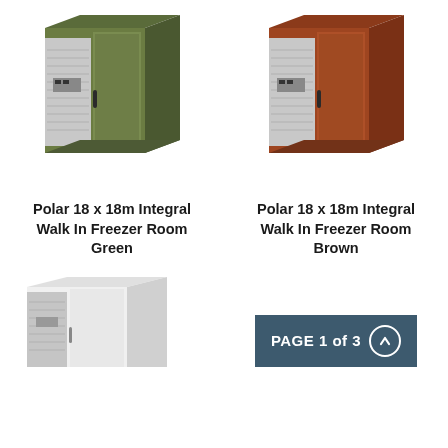[Figure (photo): Polar 18 x 18m Integral Walk In Freezer Room in olive/dark green color, showing a commercial walk-in freezer unit with integrated refrigeration unit on the front left side and a door with handle.]
[Figure (photo): Polar 18 x 18m Integral Walk In Freezer Room in brown/rust color, showing the same model commercial walk-in freezer unit with integrated refrigeration unit on the front left side and a door with handle.]
Polar 18 x 18m Integral Walk In Freezer Room Green
Polar 18 x 18m Integral Walk In Freezer Room Brown
[Figure (photo): Partial view of a white Polar walk-in freezer room unit, bottom of page, cropped.]
PAGE 1 of 3